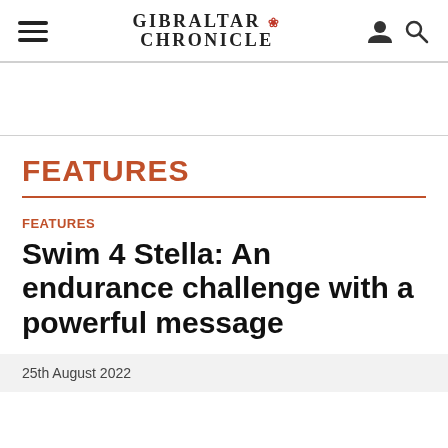GIBRALTAR CHRONICLE
FEATURES
FEATURES
Swim 4 Stella: An endurance challenge with a powerful message
25th August 2022